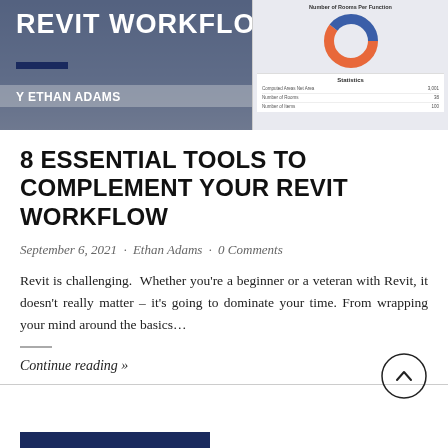[Figure (screenshot): Hero banner image showing a Revit workflow interface with title 'REVIT WORKFLOW' overlaid in white, 'BY ETHAN ADAMS' below, and a donut chart panel on the right showing 'Number of Rooms Per Function' with statistics including Computed Areas Net Area, Number of Rooms, and Number of Items.]
8 ESSENTIAL TOOLS TO COMPLEMENT YOUR REVIT WORKFLOW
September 6, 2021  ·  Ethan Adams  ·  0 Comments
Revit is challenging.  Whether you're a beginner or a veteran with Revit, it doesn't really matter – it's going to dominate your time. From wrapping your mind around the basics…
Continue reading »